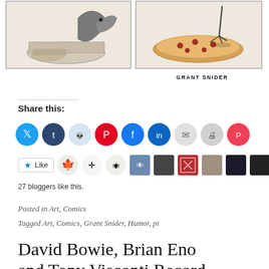[Figure (illustration): Comic strip panels showing a crow and food items (pie tin and pizza). Two panels side by side with light beige background. Attribution reads GRANT SNIDER.]
Share this:
[Figure (infographic): Row of social share buttons: Twitter (blue), Tumblr (dark blue), Reddit (light blue), Pinterest (red), Facebook (blue), LinkedIn (blue), Email (light gray), Print (gray), Pocket (red).]
[Figure (infographic): Like button with star icon followed by a row of blogger avatar thumbnails.]
27 bloggers like this.
Posted in Art, Comics
Tagged Art, Comics, Grant Snider, Humor, pi
David Bowie, Brian Eno and Tony Visconti Record